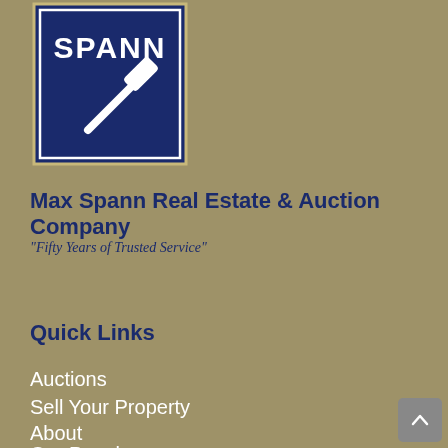[Figure (logo): Max Spann Real Estate & Auction Company logo — white text 'SPANN' on navy blue background with a gavel icon]
Max Spann Real Estate & Auction Company
“Fifty Years of Trusted Service”
Quick Links
Auctions
Sell Your Property
About
Our People